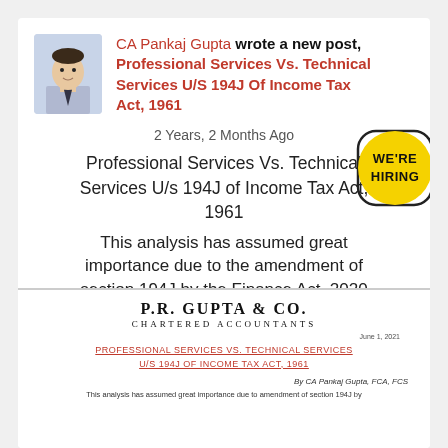CA Pankaj Gupta wrote a new post, Professional Services Vs. Technical Services U/S 194J Of Income Tax Act, 1961
2 Years, 2 Months Ago
Professional Services Vs. Technical Services U/s 194J of Income Tax Act, 1961
This analysis has assumed great importance due to the amendment of section 194J by the Finance Act, 2020 with effect from 1st April [...]
[Figure (screenshot): Preview of document from P.R. Gupta & Co., Chartered Accountants, showing professional services vs technical services article]
[Figure (illustration): WE'RE HIRING badge in yellow circle]